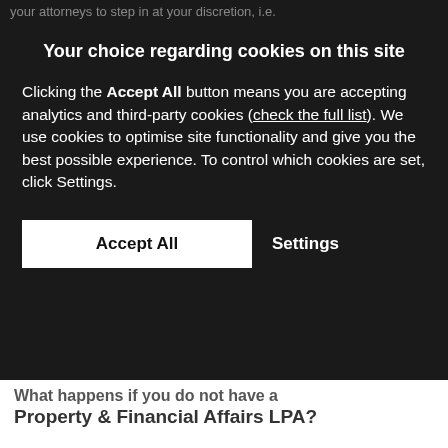your attorneys to step in at your discretion, i.e.
Your choice regarding cookies on this site
Clicking the Accept All button means you are accepting analytics and third-party cookies (check the full list). We use cookies to optimise site functionality and give you the best possible experience. To control which cookies are set, click Settings.
Accept All    Settings
What happens if you do not have a Property & Financial Affairs LPA?